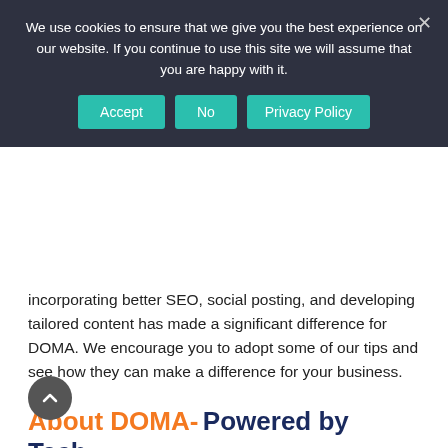We use cookies to ensure that we give you the best experience on our website. If you continue to use this site we will assume that you are happy with it.
incorporating better SEO, social posting, and developing tailored content has made a significant difference for DOMA. We encourage you to adopt some of our tips and see how they can make a difference for your business.
About DOMA- Powered by Tech, Driven by People
DOMA Technologies (DOMA) was founded in 2000 as a Cloud-based document management company. DOMA delivers comprehensive solutions using the latest tools to help you collaborate with enterprise data. DOMA captures and transforms...